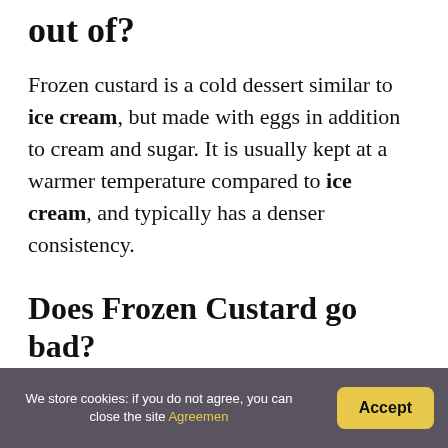out of?
Frozen custard is a cold dessert similar to ice cream, but made with eggs in addition to cream and sugar. It is usually kept at a warmer temperature compared to ice cream, and typically has a denser consistency.
Does Frozen Custard go bad?
Your frozen custard will be best within the first day it's made, but will last in your freezer fo...
We store cookies: if you do not agree, you can close the site Agreemen  Accept